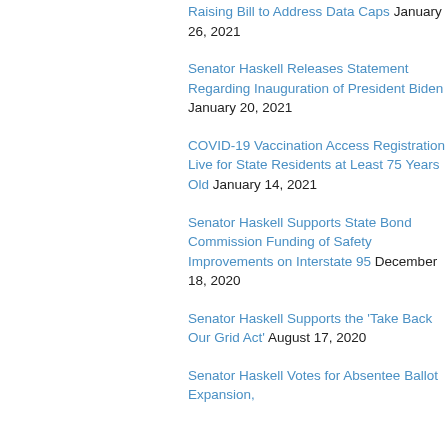Raising Bill to Address Data Caps January 26, 2021
Senator Haskell Releases Statement Regarding Inauguration of President Biden January 20, 2021
COVID-19 Vaccination Access Registration Live for State Residents at Least 75 Years Old January 14, 2021
Senator Haskell Supports State Bond Commission Funding of Safety Improvements on Interstate 95 December 18, 2020
Senator Haskell Supports the 'Take Back Our Grid Act' August 17, 2020
Senator Haskell Votes for Absentee Ballot Expansion,